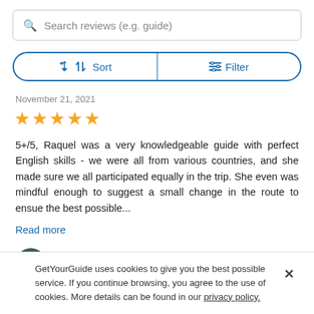Search reviews (e.g. guide)
Sort  Filter
November 21, 2021
[Figure (other): 5 yellow stars rating]
5+/5, Raquel was a very knowledgeable guide with perfect English skills - we were all from various countries, and she made sure we all participated equally in the trip. She even was mindful enough to suggest a small change in the route to ensue the best possible...
Read more
Greg — Poland
Verified booking
GetYourGuide uses cookies to give you the best possible service. If you continue browsing, you agree to the use of cookies. More details can be found in our privacy policy.